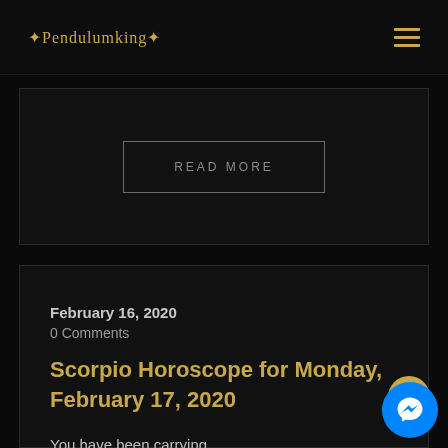✦Pendulumking✦
READ MORE
February 16, 2020
0 Comments
Scorpio Horoscope for Monday, February 17, 2020
You have been carrying heavier responsibilities